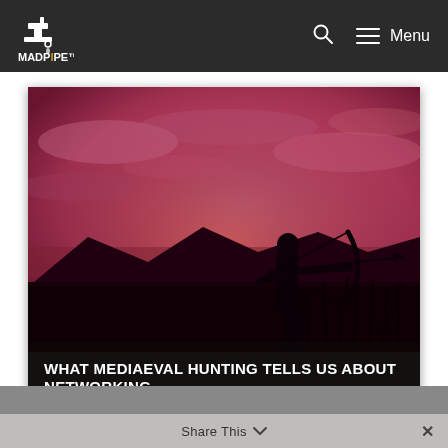MADPIPE — Menu
[Figure (photo): Silhouette of a person drawing a bow and arrow against a dramatic pink and orange sunset sky with clouds, standing in a field with tall grass and mountains in the background. Dark overlay at bottom with bold white text overlay.]
WHAT MEDIAEVAL HUNTING TELLS US ABOUT NETWORKING
Share This ∨  ×